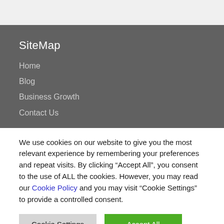SiteMap
Home
Blog
Business Growth
Contact Us
We use cookies on our website to give you the most relevant experience by remembering your preferences and repeat visits. By clicking “Accept All”, you consent to the use of ALL the cookies. However, you may read our Cookie Policy and you may visit "Cookie Settings" to provide a controlled consent.
Cookie Settings
Accept All